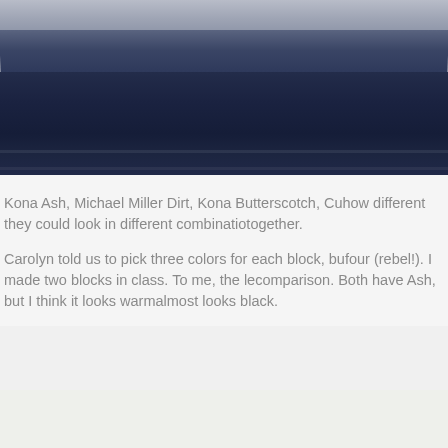[Figure (photo): Stacked folded fabric swatches in shades of light grey-blue on top and dark navy blue below, showing textile textures and folds]
Kona Ash, Michael Miller Dirt, Kona Butterscotch, Cu... how different they could look in different combinatio... together.
Carolyn told us to pick three colors for each block, bu... four (rebel!). I made two blocks in class. To me, the le... comparison. Both have Ash, but I think it looks warm... almost looks black.